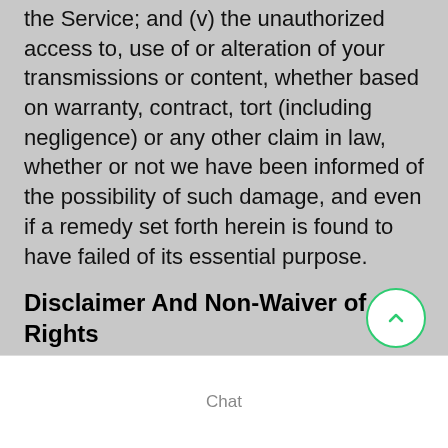the Service; and (v) the unauthorized access to, use of or alteration of your transmissions or content, whether based on warranty, contract, tort (including negligence) or any other claim in law, whether or not we have been informed of the possibility of such damage, and even if a remedy set forth herein is found to have failed of its essential purpose.
Disclaimer And Non-Waiver of Rights
MDmax Inc. makes no guarantees, representations or warranties of any kind as regards the website associated technology. Any purportedly applicable warranties, terms and conditions are excluded
Chat